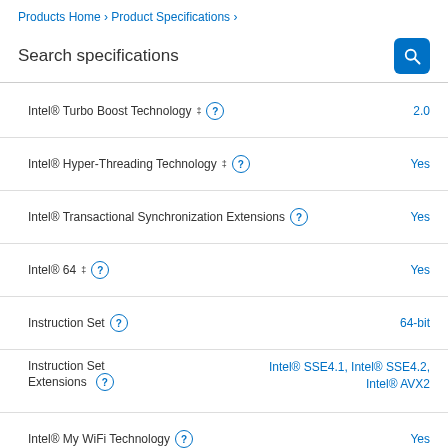Products Home › Product Specifications ›
Search specifications
| Specification | Value |
| --- | --- |
| Intel® Turbo Boost Technology ‡ | 2.0 |
| Intel® Hyper-Threading Technology ‡ | Yes |
| Intel® Transactional Synchronization Extensions | Yes |
| Intel® 64 ‡ | Yes |
| Instruction Set | 64-bit |
| Instruction Set Extensions | Intel® SSE4.1, Intel® SSE4.2, Intel® AVX2 |
| Intel® My WiFi Technology | Yes |
| Idle States | Yes |
| Enhanced Intel SpeedStep® Technology | Yes |
| Thermal Monitoring Technologies | Yes |